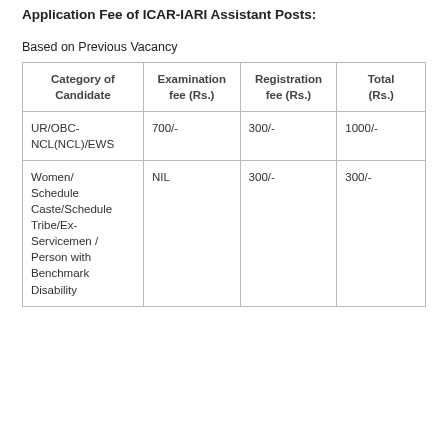Application Fee of ICAR-IARI Assistant Posts:
Based on Previous Vacancy
| Category of Candidate | Examination fee (Rs.) | Registration fee (Rs.) | Total (Rs.) |
| --- | --- | --- | --- |
| UR/OBC-NCL(NCL)/EWS | 700/- | 300/- | 1000/- |
| Women/ Schedule Caste/Schedule Tribe/Ex-Servicemen / Person with Benchmark Disability | NIL | 300/- | 300/- |